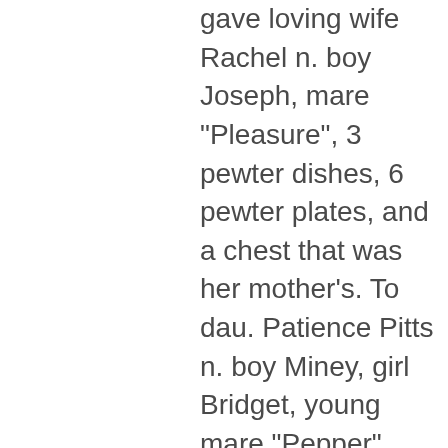gave loving wife Rachel n. boy Joseph, mare "Pleasure", 3 pewter dishes, 6 pewter plates, and a chest that was her mother's. To dau. Patience Pitts n. boy Miney, girl Bridget, young mare "Pepper", and £23. To dau. Margaret Pitts n. boys Moodey and Ariah and £23. To dau. Adah Pitts n. boys Toney and Luke and £23. To son Jacob n. man Simon, n. girl Dinah, the best mill, and £35. To son Hilary n. woman Esther, n. boy Peter and £23. To Jacob Pitts son of John Pitts all my clothes. Negro woman Sarah to be